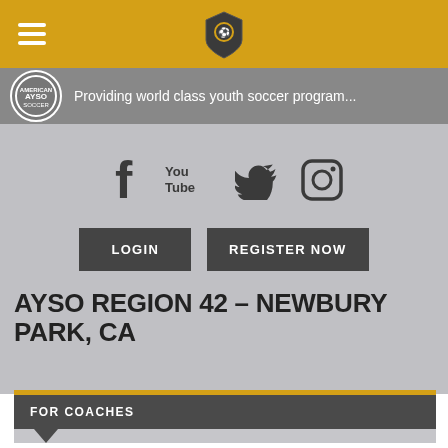AYSO navigation bar with hamburger menu and shield logo
Providing world class youth soccer program...
[Figure (infographic): Social media icons: Facebook, YouTube, Twitter, Instagram]
LOGIN   REGISTER NOW
AYSO REGION 42 – NEWBURY PARK, CA
FOR COACHES
The Coach